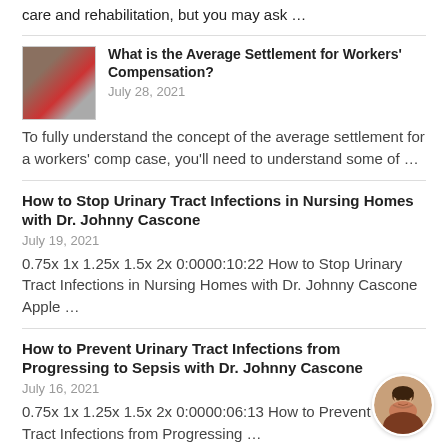care and rehabilitation, but you may ask …
[Figure (photo): Thumbnail photo of a warehouse/forklift scene with red equipment]
What is the Average Settlement for Workers' Compensation?
July 28, 2021
To fully understand the concept of the average settlement for a workers' comp case, you'll need to understand some of …
How to Stop Urinary Tract Infections in Nursing Homes with Dr. Johnny Cascone
July 19, 2021
0.75x 1x 1.25x 1.5x 2x 0:0000:10:22 How to Stop Urinary Tract Infections in Nursing Homes with Dr. Johnny Cascone Apple …
How to Prevent Urinary Tract Infections from Progressing to Sepsis with Dr. Johnny Cascone
July 16, 2021
0.75x 1x 1.25x 1.5x 2x 0:0000:06:13 How to Prevent Urinary Tract Infections from Progressing …
[Figure (photo): Circular avatar photo of a woman with dark hair, smiling]